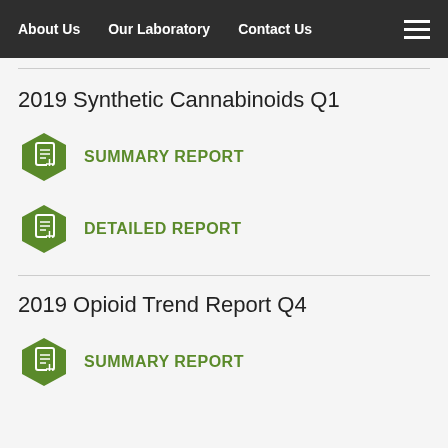About Us  Our Laboratory  Contact Us
2019 Synthetic Cannabinoids Q1
SUMMARY REPORT
DETAILED REPORT
2019 Opioid Trend Report Q4
SUMMARY REPORT